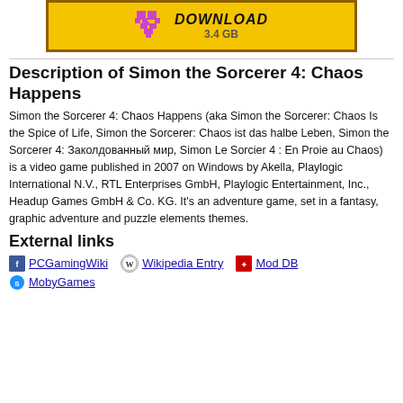[Figure (screenshot): Yellow download button banner showing a pixel-art heart icon, 'DOWNLOAD' text in bold italic, and '3.4 GB' size label, with a brown border.]
Description of Simon the Sorcerer 4: Chaos Happens
Simon the Sorcerer 4: Chaos Happens (aka Simon the Sorcerer: Chaos Is the Spice of Life, Simon the Sorcerer: Chaos ist das halbe Leben, Simon the Sorcerer 4: Заколдованный мир, Simon Le Sorcier 4 : En Proie au Chaos) is a video game published in 2007 on Windows by Akella, Playlogic International N.V., RTL Enterprises GmbH, Playlogic Entertainment, Inc., Headup Games GmbH & Co. KG. It's an adventure game, set in a fantasy, graphic adventure and puzzle elements themes.
External links
PCGamingWiki
Wikipedia Entry
Mod DB
MobyGames